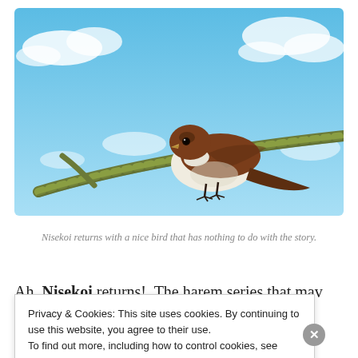[Figure (illustration): Anime-style illustration of a sparrow-like bird perched on a mossy branch against a blue sky with white clouds.]
Nisekoi returns with a nice bird that has nothing to do with the story.
Ah. Nisekoi returns!  The harem series that mav never
Privacy & Cookies: This site uses cookies. By continuing to use this website, you agree to their use.
To find out more, including how to control cookies, see here: Cookie Policy
Close and accept